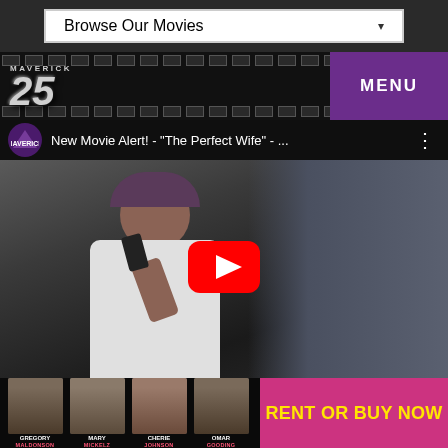[Figure (screenshot): Website navigation dropdown bar with 'Browse Our Movies' selector]
[Figure (screenshot): Maverick 25 film company header with film strip design and purple MENU button]
[Figure (screenshot): YouTube video embed showing 'New Movie Alert! - The Perfect Wife - ...' with play button overlay on movie scene]
[Figure (screenshot): Movie cast strip showing Gregory Maldonado, Mary Mickelz, Cherie Johnson, Omar Gooding with pink RENT OR BUY NOW button]